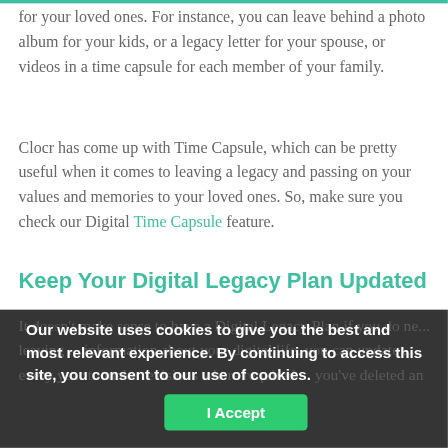for your loved ones. For instance, you can leave behind a photo album for your kids, or a legacy letter for your spouse, or videos in a time capsule for each member of your family.
Clocr has come up with Time Capsule, which can be pretty useful when it comes to leaving a legacy and passing on your values and memories to your loved ones. So, make sure you check our Digital Time Capsule feature.
Keep Your Digital Legacy Plan Updated
Our website uses cookies to give you the best and most relevant experience. By continuing to access this site, you consent to our use of cookies.
It doesn't make sense to have a Digital Legacy Plan if you don't ... leaving ... information about your digital life, you can update ... every year to make revisions where required ... you've deleted an